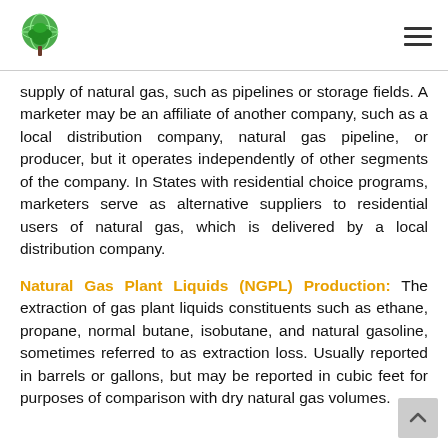[Logo] [Hamburger menu icon]
supply of natural gas, such as pipelines or storage fields. A marketer may be an affiliate of another company, such as a local distribution company, natural gas pipeline, or producer, but it operates independently of other segments of the company. In States with residential choice programs, marketers serve as alternative suppliers to residential users of natural gas, which is delivered by a local distribution company.
Natural Gas Plant Liquids (NGPL) Production: The extraction of gas plant liquids constituents such as ethane, propane, normal butane, isobutane, and natural gasoline, sometimes referred to as extraction loss. Usually reported in barrels or gallons, but may be reported in cubic feet for purposes of comparison with dry natural gas volumes.